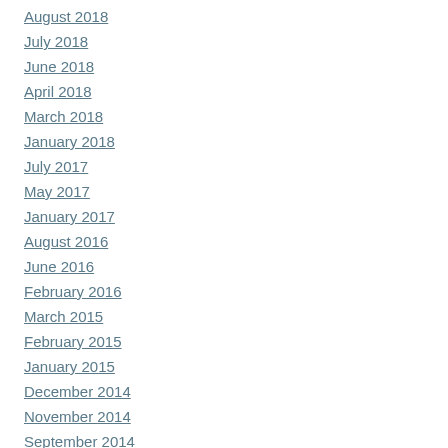August 2018
July 2018
June 2018
April 2018
March 2018
January 2018
July 2017
May 2017
January 2017
August 2016
June 2016
February 2016
March 2015
February 2015
January 2015
December 2014
November 2014
September 2014